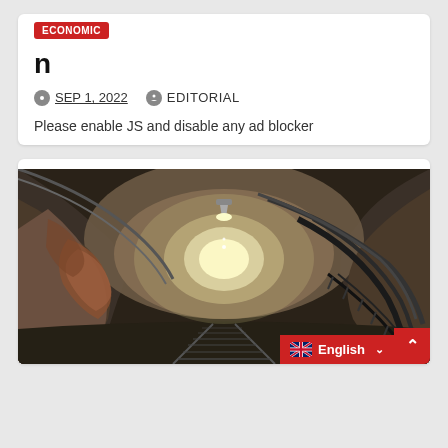ECONOMIC
n
SEP 1, 2022  EDITORIAL
Please enable JS and disable any ad blocker
[Figure (photo): Interior of a mine tunnel with rough rocky walls showing orange and grey tones, with pipes and rails running along the corridor into the distance, lit by overhead lights]